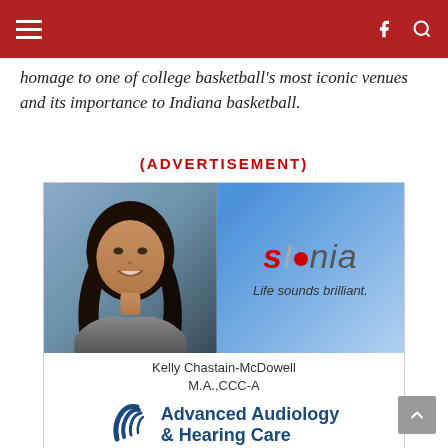[Navigation bar with hamburger menu and social/search icons]
homage to one of college basketball's most iconic venues and its importance to Indiana basketball.
(ADVERTISEMENT)
[Figure (photo): Advertisement for Advanced Audiology & Hearing Care featuring Kelly Chastain-McDowell M.A.,CCC-A, Signia logo with tagline 'Life sounds brilliant.', address 3525 Mitchell Rd, Bedford, IN 47421, phone 812-275-4479, website www.advancedhearingcare.org]